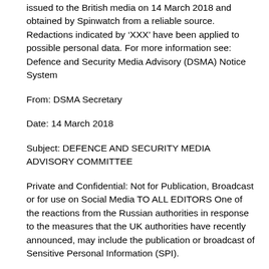issued to the British media on 14 March 2018 and obtained by Spinwatch from a reliable source. Redactions indicated by 'XXX' have been applied to possible personal data. For more information see: Defence and Security Media Advisory (DSMA) Notice System
From: DSMA Secretary
Date: 14 March 2018
Subject: DEFENCE AND SECURITY MEDIA ADVISORY COMMITTEE
Private and Confidential: Not for Publication, Broadcast or for use on Social Media TO ALL EDITORS One of the reactions from the Russian authorities in response to the measures that the UK authorities have recently announced, may include the publication or broadcast of Sensitive Personal Information (SPI).
Any publication or broadcast of SPI could identify personnel (and their family members) who work in sensitive positions. These identities are covered by the purpose of DSMA notice 05. I would like to take this opportunity to remind editors of the purpose of